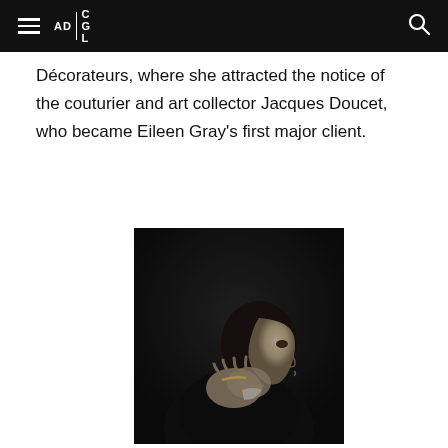AD | CGL
Décorateurs, where she attracted the notice of the couturier and art collector Jacques Doucet, who became Eileen Gray's first major client.
[Figure (photo): Black and white portrait photograph of Eileen Gray in profile, hands raised near her face, wearing dark clothing.]